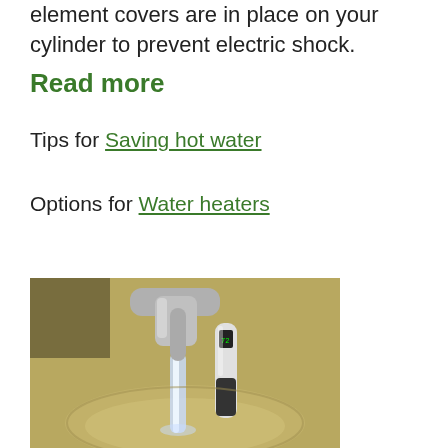element covers are in place on your cylinder to prevent electric shock.
Read more
Tips for Saving hot water
Options for Water heaters
[Figure (photo): A digital thermometer being held near a running kitchen faucet over a metallic sink, measuring water temperature.]